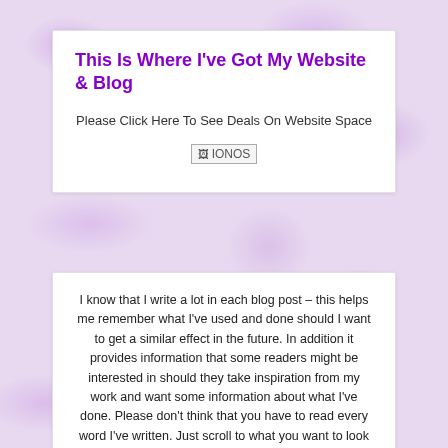This Is Where I've Got My Website & Blog
Please Click Here To See Deals On Website Space
[Figure (logo): IONOS logo image placeholder]
I know that I write a lot in each blog post – this helps me remember what I've used and done should I want to get a similar effect in the future. In addition it provides information that some readers might be interested in should they take inspiration from my work and want some information about what I've done. Please don't think that you have to read every word I've written. Just scroll to what you want to look at, and if you want a closer look - click the thumbnail images to view at a larger size, and